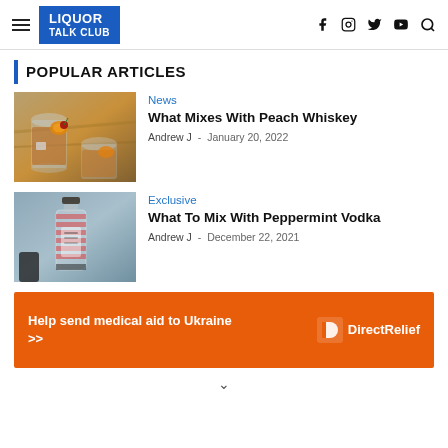LIQUOR TALK CLUB
POPULAR ARTICLES
[Figure (photo): Two glasses of peach whiskey cocktail with ice and orange slices on a wooden surface]
News
What Mixes With Peach Whiskey
Andrew J - January 20, 2022
[Figure (photo): Smirnoff Peppermint Twist vodka bottle on grey background]
Exclusive
What To Mix With Peppermint Vodka
Andrew J - December 22, 2021
[Figure (infographic): Orange advertisement banner: Help send medical aid to Ukraine >> DirectRelief logo]